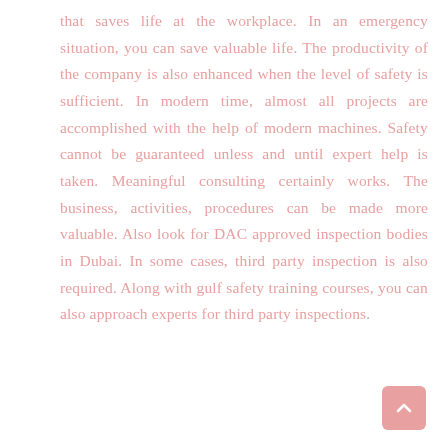that saves life at the workplace. In an emergency situation, you can save valuable life. The productivity of the company is also enhanced when the level of safety is sufficient. In modern time, almost all projects are accomplished with the help of modern machines. Safety cannot be guaranteed unless and until expert help is taken. Meaningful consulting certainly works. The business, activities, procedures can be made more valuable. Also look for DAC approved inspection bodies in Dubai. In some cases, third party inspection is also required. Along with gulf safety training courses, you can also approach experts for third party inspections.